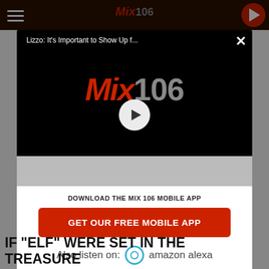Mix 106
[Figure (screenshot): Modal dialog with Mix 106 video player showing logo and play button, title 'Lizzo: It's Important to Show Up f...']
DOWNLOAD THE MIX 106 MOBILE APP
GET OUR FREE MOBILE APP
Also listen on: amazon alexa
IF "ELF" WERE SET IN THE TREASURE